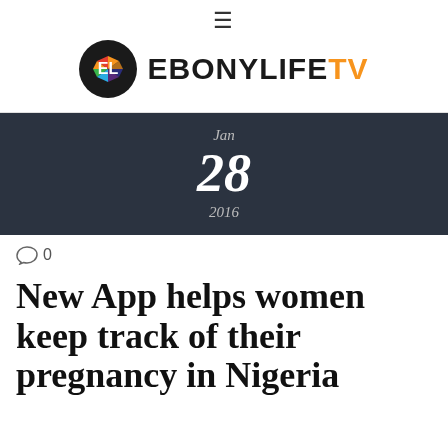☰ EBONYLIFETV
[Figure (logo): EbonyLife TV logo: black circle with colorful EL letters, followed by EBONYLIFE in black bold and TV in orange bold]
Jan 28 2016
0
New App helps women keep track of their pregnancy in Nigeria